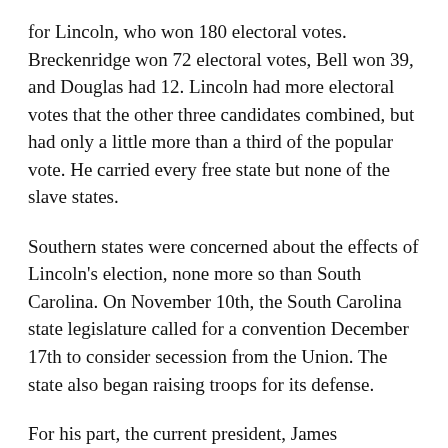for Lincoln, who won 180 electoral votes. Breckenridge won 72 electoral votes, Bell won 39, and Douglas had 12. Lincoln had more electoral votes that the other three candidates combined, but had only a little more than a third of the popular vote. He carried every free state but none of the slave states.
Southern states were concerned about the effects of Lincoln's election, none more so than South Carolina. On November 10th, the South Carolina state legislature called for a convention December 17th to consider secession from the Union. The state also began raising troops for its defense.
For his part, the current president, James Buchanan, was against secession but did not believe the Federal government had the authority to stop it from happening. His cabinet, consisting of both northerners and southerners, was split on the issue. Several cabinet